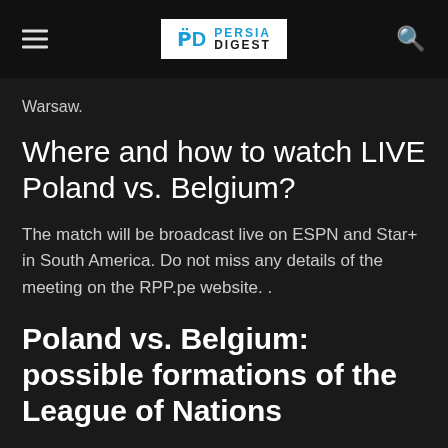PERSIA DIGEST
Warsaw.
Where and how to watch LIVE Poland vs. Belgium?
The match will be broadcast live on ESPN and Star+ in South America. Do not miss any details of the meeting on the RPP.pe website. .
Poland vs. Belgium: possible formations of the League of Nations